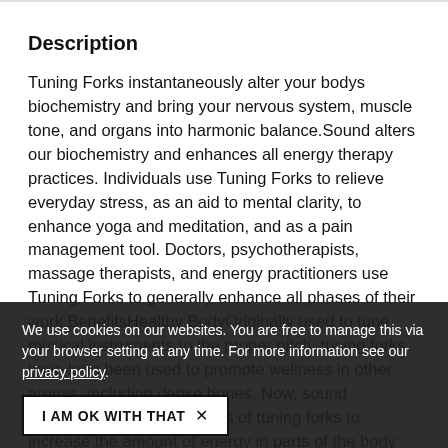Description
Tuning Forks instantaneously alter your bodys biochemistry and bring your nervous system, muscle tone, and organs into harmonic balance.Sound alters our biochemistry and enhances all energy therapy practices. Individuals use Tuning Forks to relieve everyday stress, as an aid to mental clarity, to enhance yoga and meditation, and as a pain management tool. Doctors, psychotherapists, massage therapists, and energy practitioners use Tuning Forks to generally enhance all phases of their work.BenefitsHealthy BodyOriginally used to tune musical instruments to the proper pitch, tuning forks have long been used to promote wellness in other arenas, including dense bones. Now, sound therapists use the vibrations of tuning forks to increase the amount of energy in parts of the body they are trying to heal or energize. These good vibes can support relaxation and balance our energy.
We use cookies on our websites. You are free to manage this via your browser setting at any time. For more information see our privacy policy.
I AM OK WITH THAT  ×